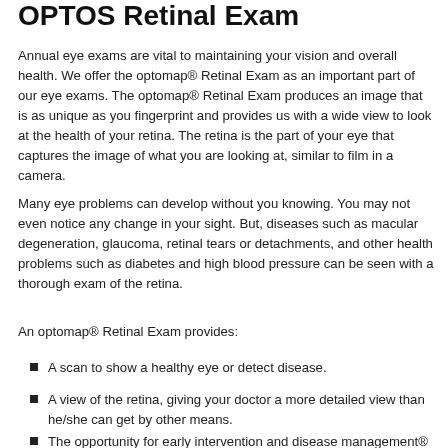OPTOS Retinal Exam
Annual eye exams are vital to maintaining your vision and overall health. We offer the optomap® Retinal Exam as an important part of our eye exams. The optomap® Retinal Exam produces an image that is as unique as you fingerprint and provides us with a wide view to look at the health of your retina. The retina is the part of your eye that captures the image of what you are looking at, similar to film in a camera.
Many eye problems can develop without you knowing. You may not even notice any change in your sight. But, diseases such as macular degeneration, glaucoma, retinal tears or detachments, and other health problems such as diabetes and high blood pressure can be seen with a thorough exam of the retina.
An optomap® Retinal Exam provides:
A scan to show a healthy eye or detect disease.
A view of the retina, giving your doctor a more detailed view than he/she can get by other means.
The opportunity for early intervention and disease management®